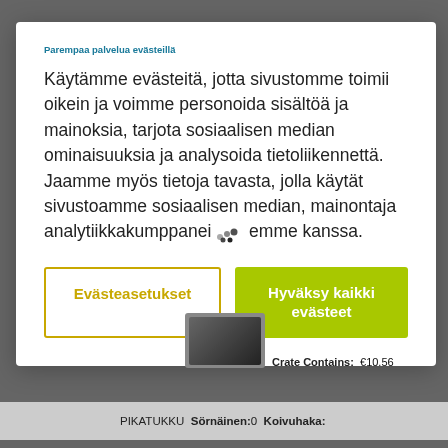[Figure (screenshot): Cookie consent modal dialog overlay on a Finnish e-commerce website background. The modal contains a subtitle, body text in Finnish about cookie usage, and two buttons: Evästeasetukset (settings) and Hyväksy kaikki evästeet (accept all). Background shows a partially visible product listing page.]
Parempaa palvelua evästeillä
Käytämme evästeitä, jotta sivustomme toimii oikein ja voimme personoida sisältöä ja mainoksia, tarjota sosiaalisen median ominaisuuksia ja analysoida tietoliikennettä. Jaamme myös tietoja tavasta, jolla käytät sivustoamme sosiaalisen median, mainonta- ja analytiikkakumppaneidemme kanssa.
Evästeasetukset
Hyväksy kaikki evästeet
PIKATUKKU  Sörnäinen: 0  Koivuhaka: